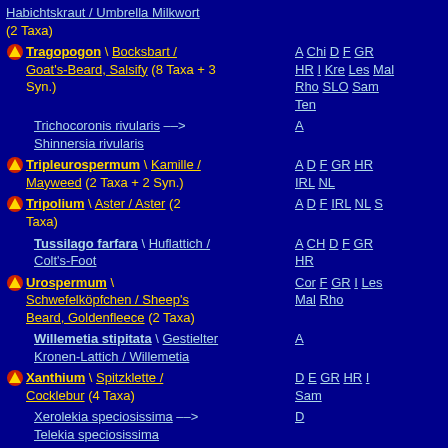Habichtskraut / Umbrella Milkwort (2 Taxa)
Tragopogon \ Bocksbart / Goat's-Beard, Salsify (8 Taxa + 3 Syn.) | A Chi D F GR HR I Kre Les Mal Rho SLO Sam Ten
Trichocoronis rivularis --> Shinnersia rivularis | A
Tripleurospermum \ Kamille / Mayweed (2 Taxa + 2 Syn.) | A D F GR HR IRL NL
Tripolium \ Aster / Aster (2 Taxa) | A D F IRL NL S
Tussilago farfara \ Huflattich / Colt's-Foot | A CH D F GR HR
Urospermum \ Schwefelköpfchen / Sheep's Beard, Goldenfleece (2 Taxa) | Cor F GR I Les Mal Rho
Willemetia stipitata \ Gestielter Kronen-Lattich / Willemetia | A
Xanthium \ Spitzklette / Cocklebur (4 Taxa) | D E GR HR I Sam
Xerolekia speciosissima --> Telekia speciosissima | D